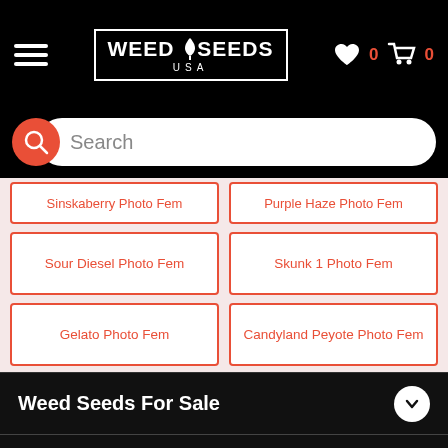[Figure (screenshot): Weed Seeds USA mobile app header with hamburger menu, logo, wishlist icon (0 items), and cart icon (0 items)]
[Figure (screenshot): Search bar with red circular search icon and white rounded input field with placeholder text 'Search']
Sinskaberry Photo Fem
Purple Haze Photo Fem
Sour Diesel Photo Fem
Skunk 1 Photo Fem
Gelato Photo Fem
Candyland Peyote Photo Fem
Weed Seeds For Sale
Seed Bank USA